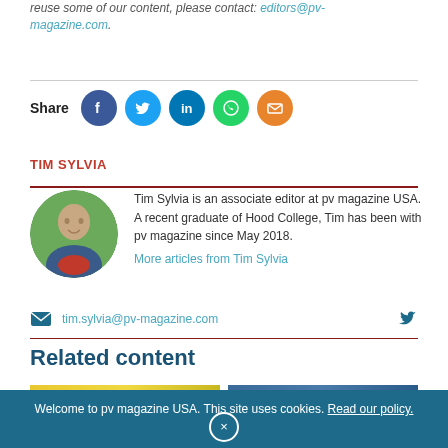reuse some of our content, please contact: editors@pv-magazine.com.
[Figure (infographic): Social share icons: Facebook, Twitter, LinkedIn, WhatsApp, Email]
TIM SYLVIA
[Figure (photo): Circular profile photo of Tim Sylvia, smiling man in suit]
Tim Sylvia is an associate editor at pv magazine USA. A recent graduate of Hood College, Tim has been with pv magazine since May 2018. More articles from Tim Sylvia
tim.sylvia@pv-magazine.com
Related content
Welcome to pv magazine USA. This site uses cookies. Read our policy.